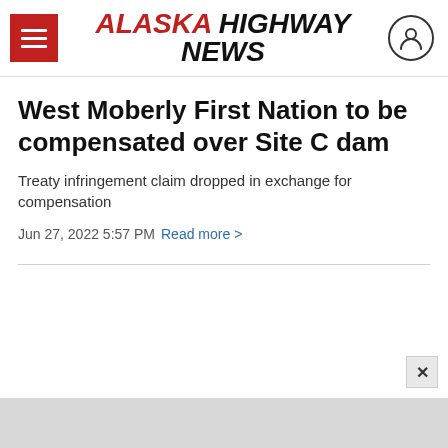ALASKA HIGHWAY NEWS
West Moberly First Nation to be compensated over Site C dam
Treaty infringement claim dropped in exchange for compensation
Jun 27, 2022 5:57 PM Read more >